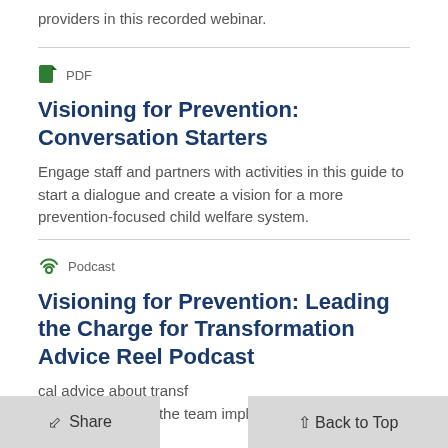providers in this recorded webinar.
PDF
Visioning for Prevention: Conversation Starters
Engage staff and partners with activities in this guide to start a dialogue and create a vision for a more prevention-focused child welfare system.
Podcast
Visioning for Prevention: Leading the Charge for Transformation Advice Reel Podcast
cal advice about transf partnerships from the team implementing a